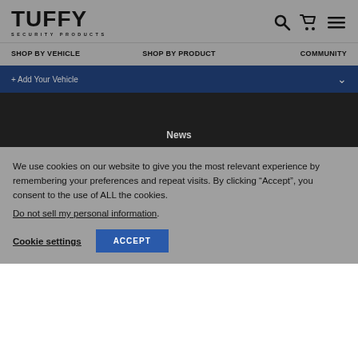[Figure (logo): Tuffy Security Products logo — bold black text TUFFY with SECURITY PRODUCTS below]
SHOP BY VEHICLE   SHOP BY PRODUCT   COMMUNITY
+ Add Your Vehicle
News
We use cookies on our website to give you the most relevant experience by remembering your preferences and repeat visits. By clicking “Accept”, you consent to the use of ALL the cookies.
Do not sell my personal information.
Cookie settings   ACCEPT